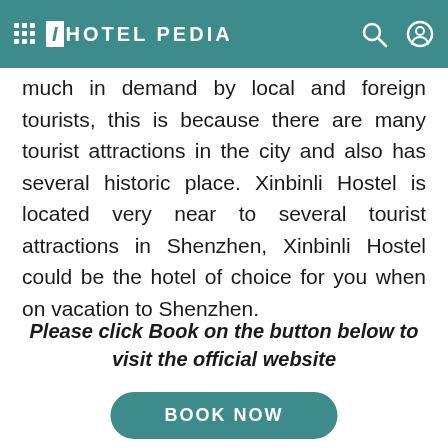I HOTEL PEDIA
much in demand by local and foreign tourists, this is because there are many tourist attractions in the city and also has several historic place. Xinbinli Hostel is located very near to several tourist attractions in Shenzhen, Xinbinli Hostel could be the hotel of choice for you when on vacation to Shenzhen.
Please click Book on the button below to visit the official website
[Figure (other): BOOK NOW button - teal rounded rectangle button with white text]
SHARE - social media icons: Facebook, WhatsApp, Messenger, Twitter, Pinterest, LinkedIn, Tumblr